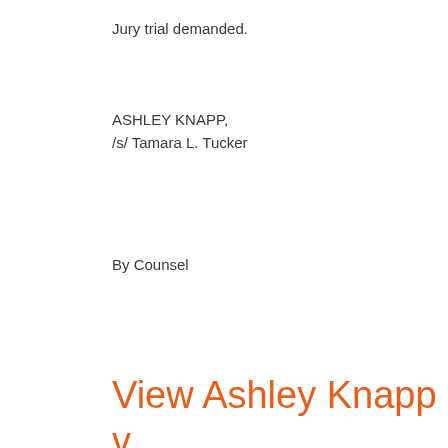Jury trial demanded.
ASHLEY KNAPP,
/s/ Tamara L. Tucker
By Counsel
View Ashley Knapp v Zoetis